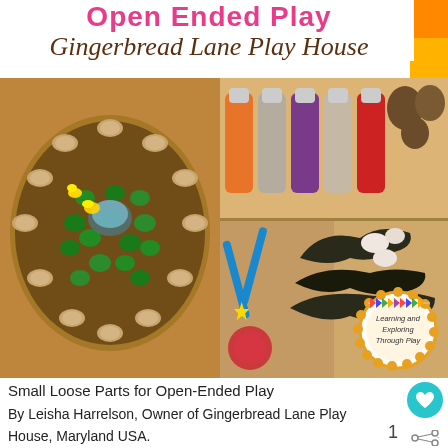Open Ended Play
Gingerbread Lane Play House
[Figure (photo): Left photo: A circular tray with green glass stones, wood slices, small yellow flowers, and a small bowl/dome in the center arranged decoratively for open-ended play.]
[Figure (photo): Right photo: An organizer box divided into compartments containing colorful bottles/paints, blue tongs, pine cones, shells, dried leaves, and other loose parts for play. A 'Learning and Exploring Through Play' badge is visible in the corner.]
Small Loose Parts for Open-Ended Play
By Leisha Harrelson, Owner of Gingerbread Lane Play House, Maryland USA.